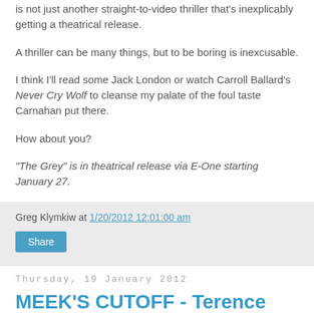is not just another straight-to-video thriller that's inexplicably getting a theatrical release.
A thriller can be many things, but to be boring is inexcusable.
I think I'll read some Jack London or watch Carroll Ballard's Never Cry Wolf to cleanse my palate of the foul taste Carnahan put there.
How about you?
"The Grey" is in theatrical release via E-One starting January 27.
Greg Klymkiw at 1/20/2012 12:01:00 am
Share
Thursday, 19 January 2012
MEEK'S CUTOFF - Terence Malick by way of John Ford with a feminist